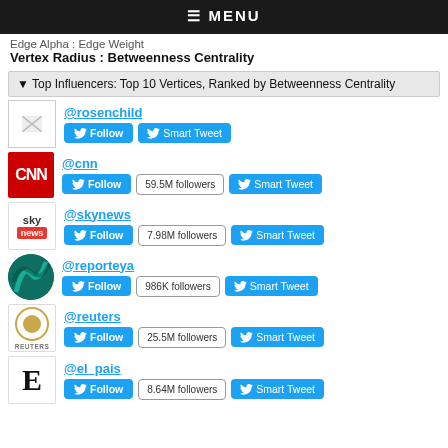≡ MENU
Edge Alpha : Edge Weight
Vertex Radius : Betweenness Centrality
▾ Top Influencers: Top 10 Vertices, Ranked by Betweenness Centrality
@rosenchild | Follow | Smart Tweet
@cnn | Follow | 59.5M followers | Smart Tweet
@skynews | Follow | 7.98M followers | Smart Tweet
@reporteya | Follow | 986K followers | Smart Tweet
@reuters | Follow | 25.5M followers | Smart Tweet
@el_pais | Follow | 8.64M followers | Smart Tweet